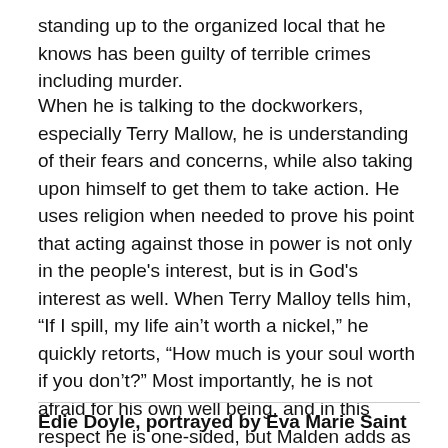standing up to the organized local that he knows has been guilty of terrible crimes including murder.
When he is talking to the dockworkers, especially Terry Mallow, he is understanding of their fears and concerns, while also taking upon himself to get them to take action. He uses religion when needed to prove his point that acting against those in power is not only in the people's interest, but is in God's interest as well. When Terry Malloy tells him, “If I spill, my life ain’t worth a nickel,” he quickly retorts, “How much is your soul worth if you don’t?” Most importantly, he is not afraid for his own well being, and in this respect he is one-sided, but Malden adds as much dimension and tenacity as he can.
Edie Doyle, portrayed by Eva Marie Saint